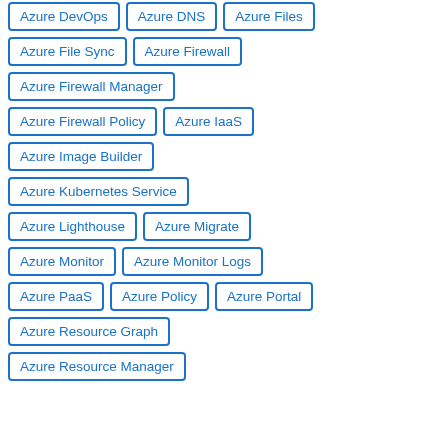Azure DevOps
Azure DNS
Azure Files
Azure File Sync
Azure Firewall
Azure Firewall Manager
Azure Firewall Policy
Azure IaaS
Azure Image Builder
Azure Kubernetes Service
Azure Lighthouse
Azure Migrate
Azure Monitor
Azure Monitor Logs
Azure PaaS
Azure Policy
Azure Portal
Azure Resource Graph
Azure Resource Manager